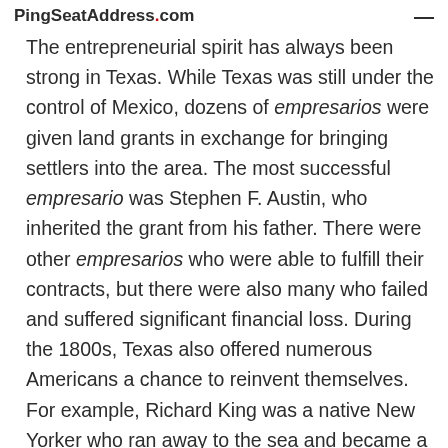PingSeatAddress.com
The entrepreneurial spirit has always been strong in Texas. While Texas was still under the control of Mexico, dozens of empresarios were given land grants in exchange for bringing settlers into the area. The most successful empresario was Stephen F. Austin, who inherited the grant from his father. There were other empresarios who were able to fulfill their contracts, but there were also many who failed and suffered significant financial loss. During the 1800s, Texas also offered numerous Americans a chance to reinvent themselves. For example, Richard King was a native New Yorker who ran away to the sea and became a successful riverboat captain.